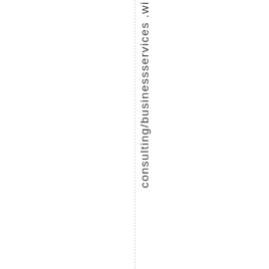consulting/businessservices .wi